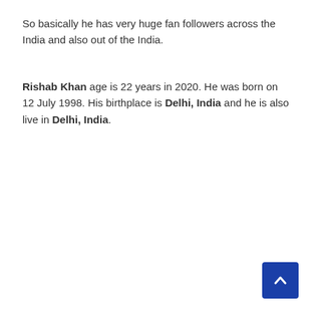So basically he has very huge fan followers across the India and also out of the India.
Rishab Khan age is 22 years in 2020. He was born on 12 July 1998. His birthplace is Delhi, India and he is also live in Delhi, India.